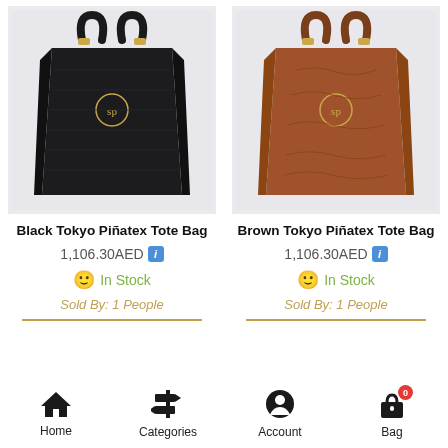[Figure (photo): Black Tokyo Piñatex Tote Bag product photo on light gray background]
[Figure (photo): Brown Tokyo Piñatex Tote Bag product photo on light gray background]
Black Tokyo Piñatex Tote Bag
Brown Tokyo Piñatex Tote Bag
1,106.30AED
1,106.30AED
In Stock
In Stock
Sold By: 1 People
Sold By: 1 People
Home   Categories   Account   Bag